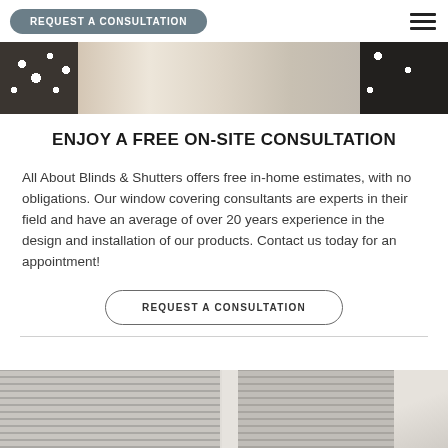REQUEST A CONSULTATION
[Figure (photo): Top banner photo of sofa with black and white dotted pillows and cushions]
ENJOY A FREE ON-SITE CONSULTATION
All About Blinds & Shutters offers free in-home estimates, with no obligations. Our window covering consultants are experts in their field and have an average of over 20 years experience in the design and installation of our products. Contact us today for an appointment!
REQUEST A CONSULTATION
[Figure (photo): Bottom banner showing two panels of horizontal blinds/shutters in grey tones with a lamp visible on the right]